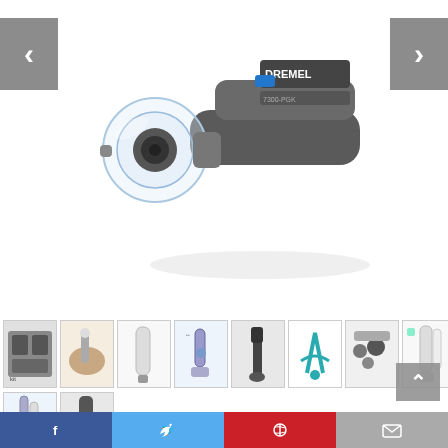[Figure (photo): Main product image: Dremel pet nail grooming tool / rotary tool, gray and black, with transparent guard attachment, shown at angle on white background]
[Figure (photo): Product thumbnail gallery row 1: multiple product thumbnails including tool kit, hand holding tool on dog nail, various nail grinder products, nail clippers, accessories]
[Figure (photo): Product thumbnail gallery row 2: two additional product thumbnails]
Nowadays, there are so many products of pet nail care for dogs in the market and you are wondering to choose a best one. You have searched for pet nail care for dogs in many
Facebook  Twitter  Pinterest  Email